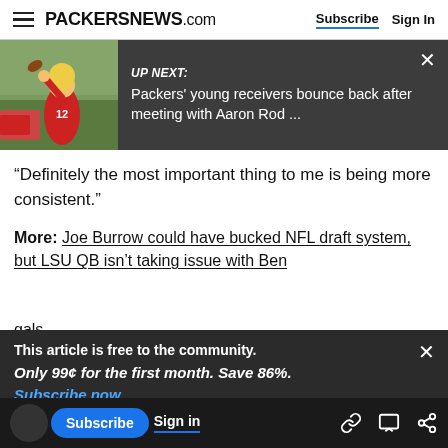PACKERSNEWS.com  Subscribe  Sign In
[Figure (screenshot): Video overlay showing UP NEXT: Packers' young receivers bounce back after meeting with Aaron Rod ... with player thumbnail on left and close X button]
“Definitely the most important thing to me is being more consistent.”
More:  Joe Burrow could have bucked NFL draft system, but LSU QB isn’t taking issue with Bengals
This article is free to the community.  Only 99¢ for the first month. Save 86%.  Subscribe now
Throughout ups and downs, Love stays
Subscribe  Sign in
than an interception, losing his father to suicide